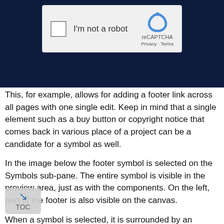[Figure (screenshot): A reCAPTCHA widget showing 'I'm not a robot' checkbox with the reCAPTCHA logo, Privacy and Terms links, displayed on a dark navy background.]
This, for example, allows for adding a footer link across all pages with one single edit. Keep in mind that a single element such as a buy button or copyright notice that comes back in various place of a project can be a candidate for a symbol as well.
In the image below the footer symbol is selected on the Symbols sub-pane. The entire symbol is visible in the preview area, just as with the components. On the left, part of the footer is also visible on the canvas.
When a symbol is selected, it is surrounded by an orange line on the canvas. This is to help differentiate between symbols and 'normal' element groups. The Symbol container will also have